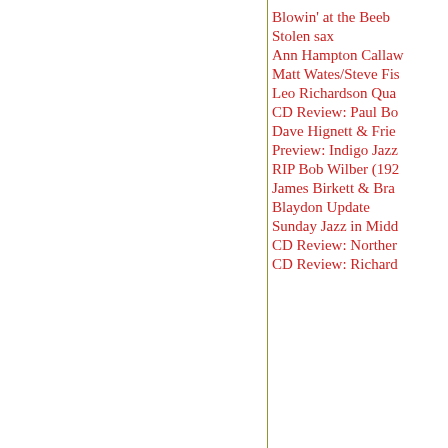Blowin' at the Beeb
Stolen sax
Ann Hampton Callaw
Matt Wates/Steve Fis
Leo Richardson Qua
CD Review: Paul Bo
Dave Hignett & Frie
Preview: Indigo Jazz
RIP Bob Wilber (192
James Birkett & Bra
Blaydon Update
Sunday Jazz in Midd
CD Review: Norther
CD Review: Richard